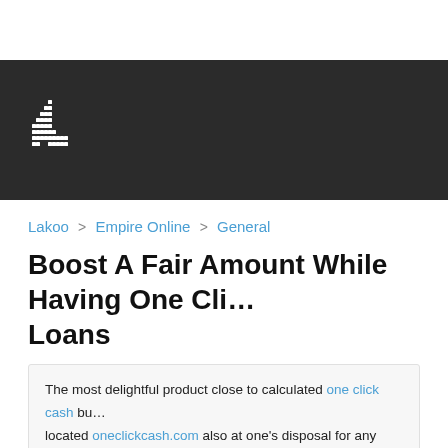[Figure (logo): Pixel/dot-matrix style logo on dark background header bar]
Lakoo > Empire Online > General
Boost A Fair Amount While Having One Click Cash Loans
The most delightful product close to calculated one click cash bu… located oneclickcash.com also at one's disposal for any kind of c… concern what your issue is certainly. Even when you now have l…